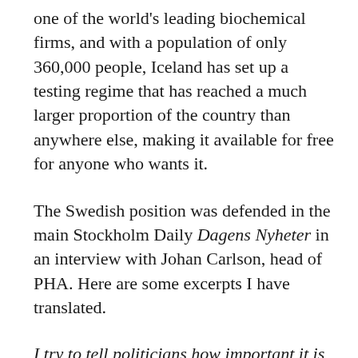one of the world's leading biochemical firms, and with a population of only 360,000 people, Iceland has set up a testing regime that has reached a much larger proportion of the country than anywhere else, making it available for free for anyone who wants it.
The Swedish position was defended in the main Stockholm Daily Dagens Nyheter in an interview with Johan Carlson, head of PHA. Here are some excerpts I have translated.
I try to tell politicians how important it is that measures are accepted by the population. That way people are more likely to follow them … There is no law that parents must have their children vaccinated. There is no